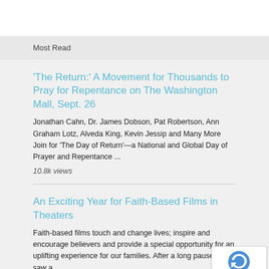Most Read
'The Return:' A Movement for Thousands to Pray for Repentance on The Washington Mall, Sept. 26
Jonathan Cahn, Dr. James Dobson, Pat Robertson, Ann Graham Lotz, Alveda King, Kevin Jessip and Many More Join for 'The Day of Return'—a National and Global Day of Prayer and Repentance ...
10.8k views
An Exciting Year for Faith-Based Films in Theaters
Faith-based films touch and change lives; inspire and encourage believers and provide a special opportunity for an uplifting experience for our families. After a long pause 2021 saw a...